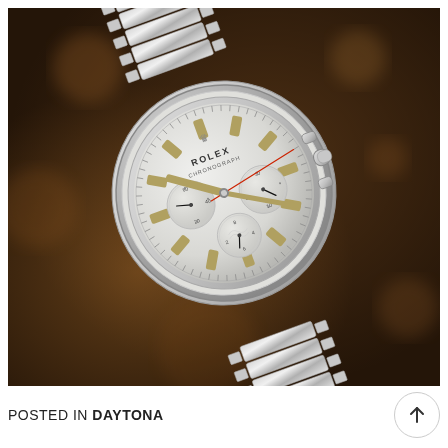[Figure (photo): A vintage Rolex Chronograph watch (pre-Daytona style) with a silver dial featuring three sub-dials, baton hour markers, and a stainless steel jubilee bracelet. The watch is photographed at an angle against a warm brown blurred background.]
POSTED IN DAYTONA